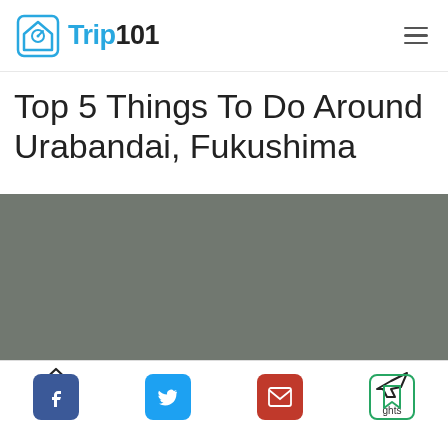Trip101
Top 5 Things To Do Around Urabandai, Fukushima
[Figure (photo): Gray placeholder hero image for Urabandai, Fukushima article]
Vacation | Hotels | Cars | Flights